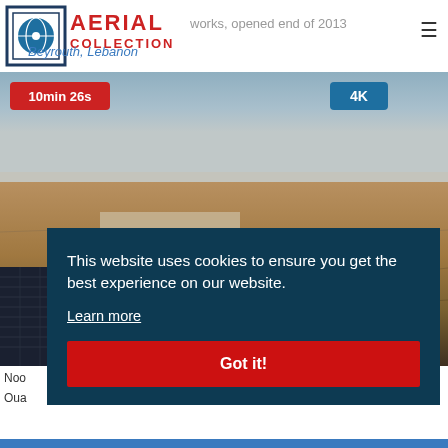AERIAL COLLECTION
works, opened end of 2013
Beyrouth, Lebanon
[Figure (photo): Aerial photograph of a large desert landscape with solar panel installation visible in the lower left corner, under a hazy sky. Badges show '10min 26s' and '4K'.]
Noo...
Oua...
This website uses cookies to ensure you get the best experience on our website.
Learn more
Got it!